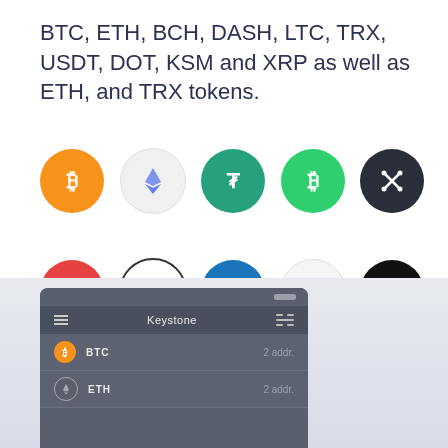BTC, ETH, BCH, DASH, LTC, TRX, USDT, DOT, KSM and XRP as well as ETH, and TRX tokens.
[Figure (illustration): Two rows of cryptocurrency coin icons: Row 1: Bitcoin (orange), Ethereum (light gray), Tether (green), Bitcoin Cash (green), XRP (dark). Row 2: TRON (red), Litecoin (white/outline), Dash (blue), Polkadot (light gray), Blackbird/unknown (black).]
[Figure (screenshot): Mobile app screenshot showing Keystone wallet interface with BTC (2 addr.) and ETH (2 addr.) entries listed.]